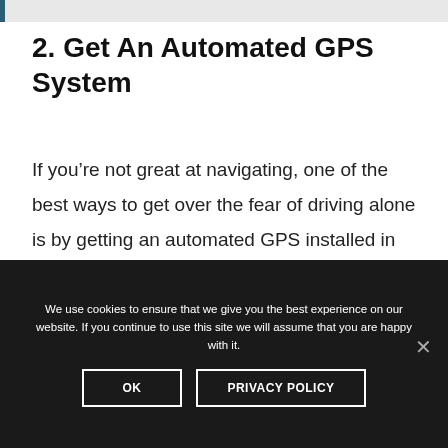2. Get An Automated GPS System
If you’re not great at navigating, one of the best ways to get over the fear of driving alone is by getting an automated GPS installed in your car! These systems are super easy to use and will always help
We use cookies to ensure that we give you the best experience on our website. If you continue to use this site we will assume that you are happy with it.